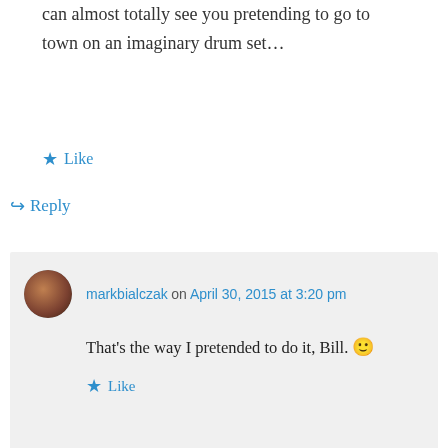can almost totally see you pretending to go to town on an imaginary drum set…
★ Like
↪ Reply
markbialczak on April 30, 2015 at 3:20 pm
That's the way I pretended to do it, Bill. 🙂
★ Like
↪ Reply
Advertisements
[Figure (screenshot): Advertisement banner for Laurel Road Loyalty Checking showing purple background with text 'The only checking rewards that pay you when you get paid.']